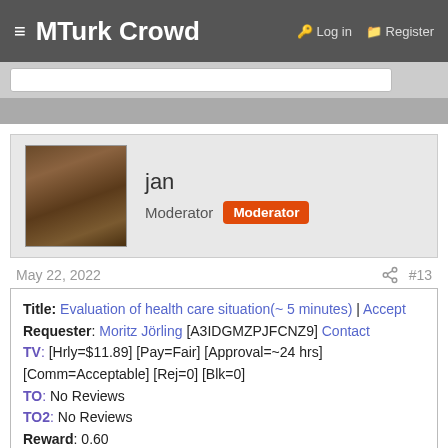≡ MTurk Crowd   🔑 Log in  🗂 Register
jan
Moderator  [Moderator badge]
May 22, 2022   #13
Title: Evaluation of health care situation(~ 5 minutes) | Accept
Requester: Moritz Jörling [A3IDGMZPJFCNZ9] Contact
TV: [Hrly=$11.89] [Pay=Fair] [Approval=~24 hrs] [Comm=Acceptable] [Rej=0] [Blk=0]
TO: No Reviews
TO2: No Reviews
Reward: 0.60
Duration: 30:00
Available: 7
Description: survey
Qualifications: Total approved HITs GreaterThanOrEq HT 100; Exc: [-1681208505-365628] DoesNotExist ; HIT approval